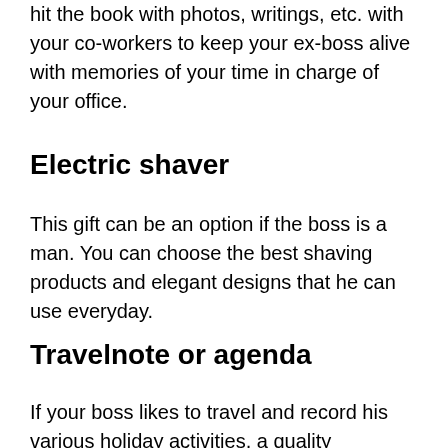hit the book with photos, writings, etc. with your co-workers to keep your ex-boss alive with memories of your time in charge of your office.
Electric shaver
This gift can be an option if the boss is a man. You can choose the best shaving products and elegant designs that he can use everyday.
Travelnote or agenda
If your boss likes to travel and record his various holiday activities, a quality travelnote is the perfect gift for him. Choose a travelnote that also provides a compartment to store your documents.